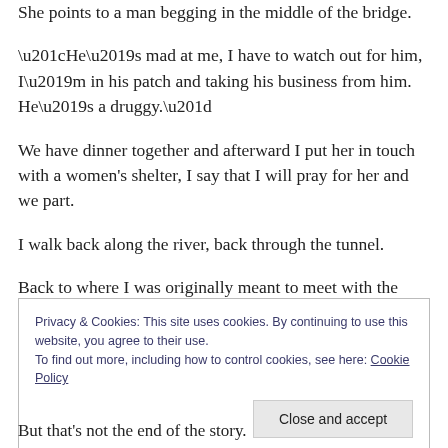She points to a man begging in the middle of the bridge.
“He’s mad at me, I have to watch out for him, I’m in his patch and taking his business from him. He’s a druggy.”
We have dinner together and afterward I put her in touch with a women’s shelter, I say that I will pray for her and we part.
I walk back along the river, back through the tunnel.
Back to where I was originally meant to meet with the other street preachers.
Privacy & Cookies: This site uses cookies. By continuing to use this website, you agree to their use.
To find out more, including how to control cookies, see here: Cookie Policy
But that’s not the end of the story.